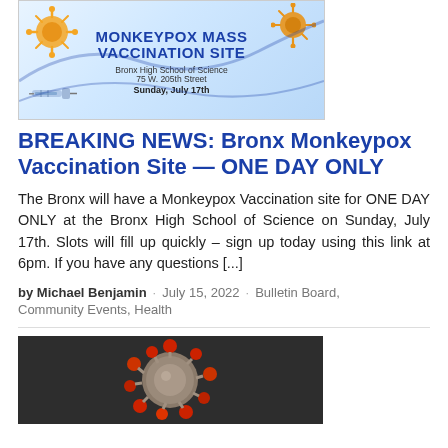[Figure (illustration): Monkeypox Mass Vaccination Site banner with virus illustrations and syringe. Text: MONKEYPOX MASS VACCINATION SITE, Bronx High School of Science, 75 W. 205th Street, Sunday, July 17th]
BREAKING NEWS: Bronx Monkeypox Vaccination Site — ONE DAY ONLY
The Bronx will have a Monkeypox Vaccination site for ONE DAY ONLY at the Bronx High School of Science on Sunday, July 17th. Slots will fill up quickly – sign up today using this link at 6pm. If you have any questions [...]
by Michael Benjamin · July 15, 2022 · Bulletin Board, Community Events, Health
[Figure (photo): Close-up photo of a red and grey coronavirus particle model on a dark background]